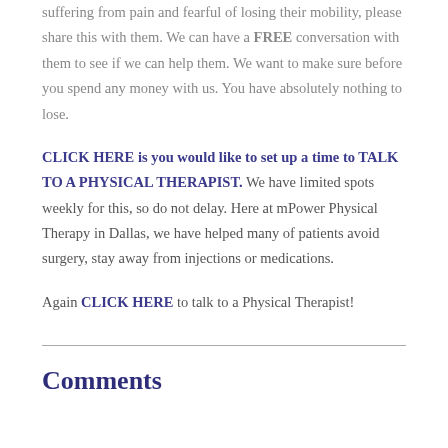suffering from pain and fearful of losing their mobility, please share this with them. We can have a FREE conversation with them to see if we can help them. We want to make sure before you spend any money with us. You have absolutely nothing to lose.
CLICK HERE is you would like to set up a time to TALK TO A PHYSICAL THERAPIST. We have limited spots weekly for this, so do not delay. Here at mPower Physical Therapy in Dallas, we have helped many of patients avoid surgery, stay away from injections or medications.
Again CLICK HERE to talk to a Physical Therapist!
Comments